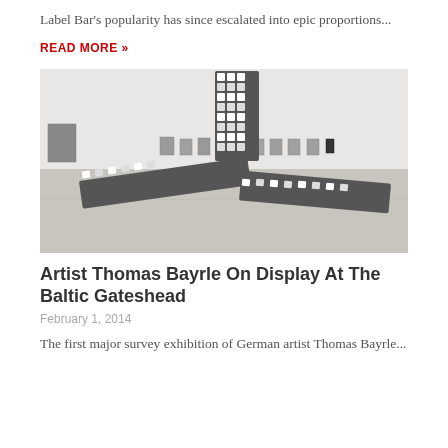Label Bar's popularity has since escalated into epic proportions...
READ MORE »
[Figure (photo): Gallery interior showing a large black-and-white patterned sculpture resembling a cross or airplane shape lying on the floor, with framed artworks on white walls in the background.]
Artist Thomas Bayrle On Display At The Baltic Gateshead
February 1, 2014
The first major survey exhibition of German artist Thomas Bayrle...